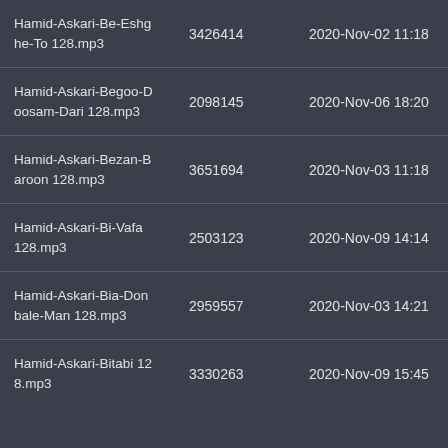| Name | Size | Date |
| --- | --- | --- |
| Hamid-Askari-Be-Eshghe-To 128.mp3 | 3426414 | 2020-Nov-02 11:18 |
| Hamid-Askari-Begoo-Doosam-Dari 128.mp3 | 2098145 | 2020-Nov-06 18:20 |
| Hamid-Askari-Bezan-Baroon 128.mp3 | 3651694 | 2020-Nov-03 11:18 |
| Hamid-Askari-Bi-Vafa 128.mp3 | 2503123 | 2020-Nov-09 14:14 |
| Hamid-Askari-Bia-Donbale-Man 128.mp3 | 2959557 | 2020-Nov-03 14:21 |
| Hamid-Askari-Bitabi 128.mp3 | 3330263 | 2020-Nov-09 15:45 |